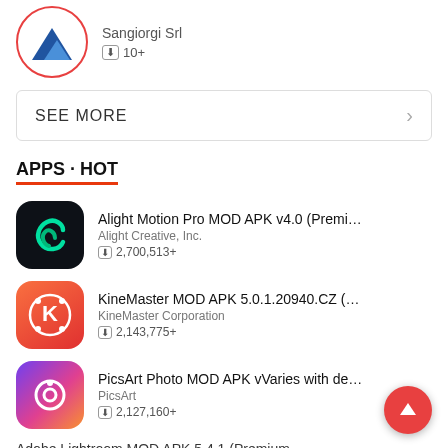[Figure (logo): Mountain app icon with red circle arrow]
Sangiorgi Srl
⬇ 10+
SEE MORE
APPS · HOT
[Figure (logo): Alight Motion dark icon with green spiral]
Alight Motion Pro MOD APK v4.0 (Premium Unloc...
Alight Creative, Inc.
⬇ 2,700,513+
[Figure (logo): KineMaster red-orange icon with K letter]
KineMaster MOD APK 5.0.1.20940.CZ (Full Unloc...
KineMaster Corporation
⬇ 2,143,775+
[Figure (logo): PicsArt purple-pink gradient icon with P]
PicsArt Photo MOD APK vVaries with device (Unl...
PicsArt
⬇ 2,127,160+